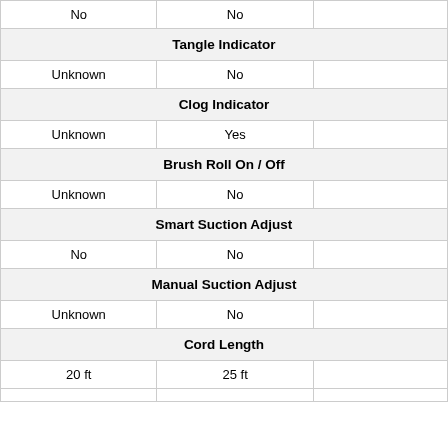| No | No |  |
| Tangle Indicator |  |  |
| Unknown | No |  |
| Clog Indicator |  |  |
| Unknown | Yes |  |
| Brush Roll On / Off |  |  |
| Unknown | No |  |
| Smart Suction Adjust |  |  |
| No | No |  |
| Manual Suction Adjust |  |  |
| Unknown | No |  |
| Cord Length |  |  |
| 20 ft | 25 ft |  |